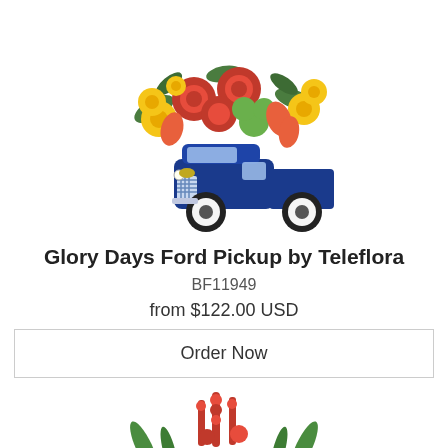[Figure (photo): Floral arrangement in a blue vintage Ford pickup truck ceramic vase, with red roses, yellow daisies, green button mums, red alstroemeria, and yellow flowers]
Glory Days Ford Pickup by Teleflora
BF11949
from $122.00 USD
Order Now
[Figure (photo): Partial view of a second floral arrangement with red flowers and fern fronds at the bottom of the page]